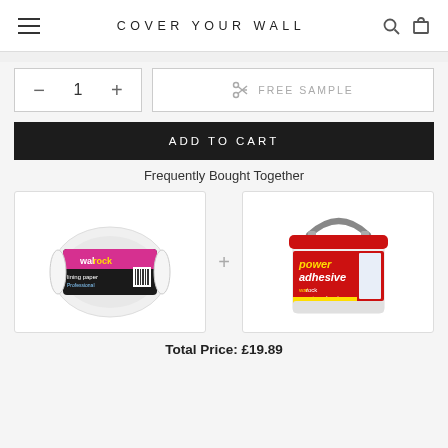COVER YOUR WALL
− 1 +
FREE SAMPLE
ADD TO CART
Frequently Bought Together
[Figure (photo): Roll of wallpaper/lining paper product (walrock brand) with pink and black label]
[Figure (photo): Bucket of power adhesive (walrock brand) with red lid and red/blue label]
Total Price:  £19.89